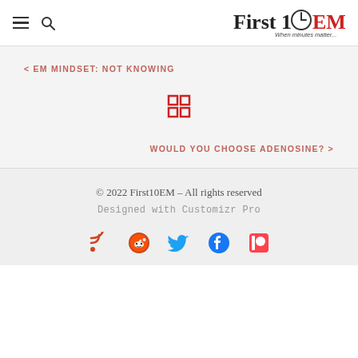First10EM - When minutes matter...
< EM MINDSET: NOT KNOWING
[Figure (other): Grid/menu icon (4-square grid symbol) in red]
WOULD YOU CHOOSE ADENOSINE? >
© 2022 First10EM – All rights reserved
Designed with Customizr Pro
[Figure (other): Social media icons: RSS (red), Reddit (red/orange), Twitter (blue), Facebook (blue), Patreon (red)]